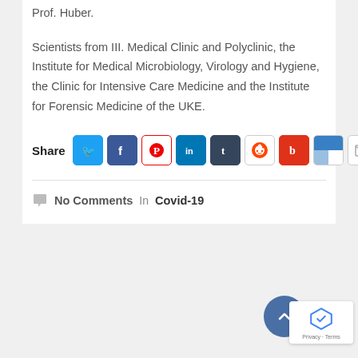Prof. Huber.
Scientists from III. Medical Clinic and Polyclinic, the Institute for Medical Microbiology, Virology and Hygiene, the Clinic for Intensive Care Medicine and the Institute for Forensic Medicine of the UKE.
[Figure (infographic): Share row with social media icons: Twitter, Facebook, Pinterest, LinkedIn, Tumblr, Reddit, Blogger, Delicious, Email, Print]
No Comments  In  Covid-19